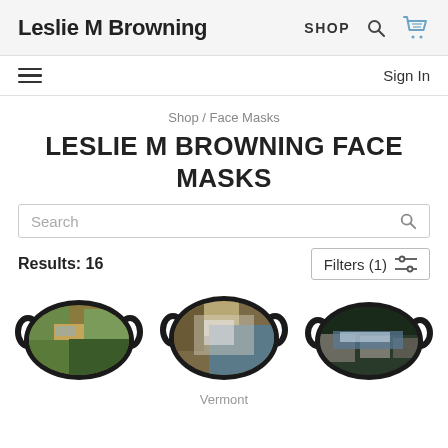Leslie M Browning — SHOP
Sign In
Shop / Face Masks
LESLIE M BROWNING FACE MASKS
Search
Results: 16
Filters (1)
[Figure (photo): Three face masks with nature photography prints (streams and rocks scenes); three masks shown side by side]
Vermont